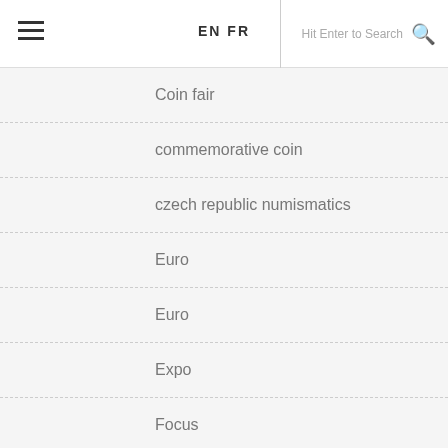EN FR  Hit Enter to Search
Coin fair
commemorative coin
czech republic numismatics
Euro
Euro
Expo
Focus
Greece
hoard
Interview